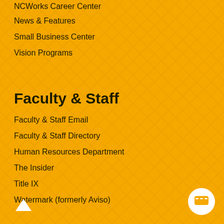NCWorks Career Center
News & Features
Small Business Center
Vision Programs
Faculty & Staff
Faculty & Staff Email
Faculty & Staff Directory
Human Resources Department
The Insider
Title IX
Watermark (formerly Aviso)